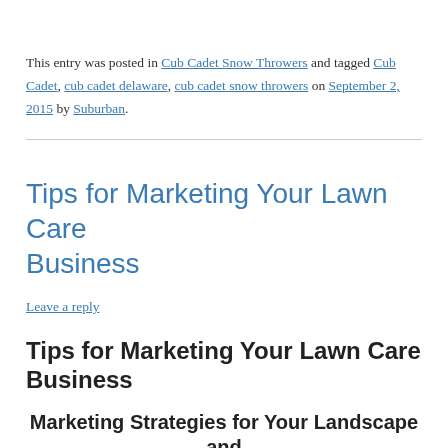This entry was posted in Cub Cadet Snow Throwers and tagged Cub Cadet, cub cadet delaware, cub cadet snow throwers on September 2, 2015 by Suburban.
Tips for Marketing Your Lawn Care Business
Leave a reply
Tips for Marketing Your Lawn Care Business
Marketing Strategies for Your Landscape and Lawn Care Business from Suburban Lawn